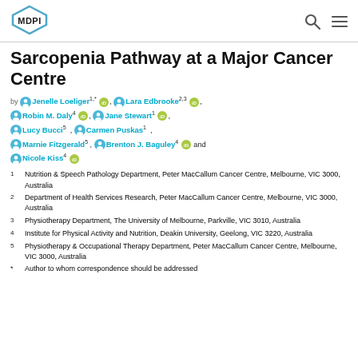[Figure (logo): MDPI logo — hexagonal shape with 'MDPI' text inside]
Sarcopenia Pathway at a Major Cancer Centre
by Jenelle Loeliger 1,* , Lara Edbrooke 2,3 , Robin M. Daly 4 , Jane Stewart 1 , Lucy Bucci 5 , Carmen Puskas 1 , Marnie Fitzgerald 5 , Brenton J. Baguley 4 and Nicole Kiss 4
1 Nutrition & Speech Pathology Department, Peter MacCallum Cancer Centre, Melbourne, VIC 3000, Australia
2 Department of Health Services Research, Peter MacCallum Cancer Centre, Melbourne, VIC 3000, Australia
3 Physiotherapy Department, The University of Melbourne, Parkville, VIC 3010, Australia
4 Institute for Physical Activity and Nutrition, Deakin University, Geelong, VIC 3220, Australia
5 Physiotherapy & Occupational Therapy Department, Peter MacCallum Cancer Centre, Melbourne, VIC 3000, Australia
* Author to whom correspondence should be addressed